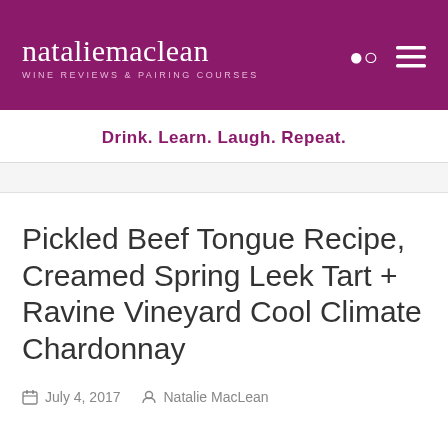nataliemaclean WINE REVIEWS & PAIRING COURSES
Drink. Learn. Laugh. Repeat.
Pickled Beef Tongue Recipe, Creamed Spring Leek Tart + Ravine Vineyard Cool Climate Chardonnay
July 4, 2017  Natalie MacLean